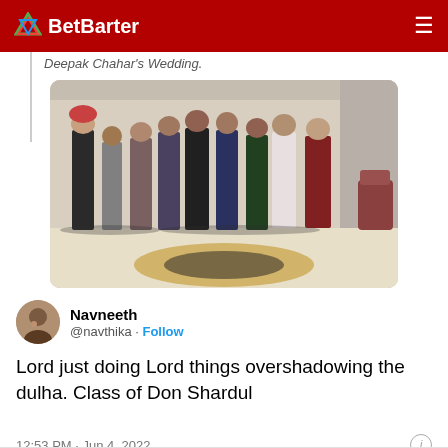BetBarter
Deepak Chahar's Wedding.
[Figure (photo): Group photo of approximately 9 men posing together in formal/semi-formal attire in an indoor venue with a decorative floor. One man wears a red turban.]
Navneeth @navthika · Follow
Lord just doing Lord things overshadowing the dulha. Class of Don Shardul
12:53 PM · Jun 4, 2022